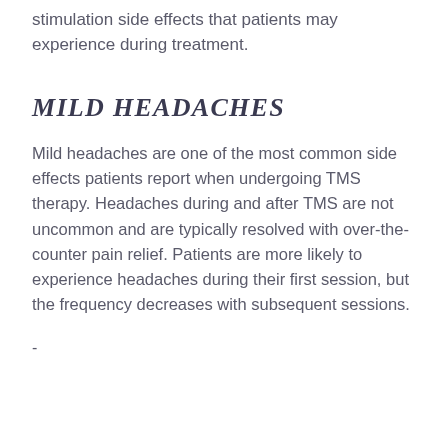stimulation side effects that patients may experience during treatment.
MILD HEADACHES
Mild headaches are one of the most common side effects patients report when undergoing TMS therapy. Headaches during and after TMS are not uncommon and are typically resolved with over-the-counter pain relief. Patients are more likely to experience headaches during their first session, but the frequency decreases with subsequent sessions.
-